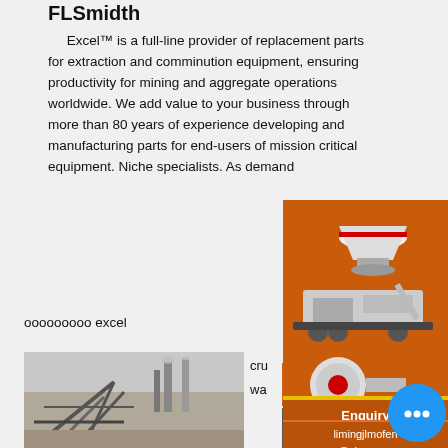FLSmidth
Excel™ is a full-line provider of replacement parts for extraction and comminution equipment, ensuring productivity for mining and aggregate operations worldwide. We add value to your business through more than 80 years of experience developing and manufacturing parts for end-users of mission critical equipment. Niche specialists. As deman...
ооооооооо excel
[Figure (illustration): Orange sidebar advertisement showing mining/crushing machinery equipment with 'Enjoy 3%' and 'Click to...' yellow bar, enquiry contact and limingjlmofen@sina.com email, and a blue chat bubble icon]
[Figure (photo): Industrial site photo showing construction/demolition scene with steel structures and smokestacks in background]
cru...
wa...